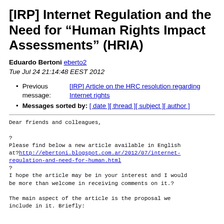[IRP] Internet Regulation and the Need for “Human Rights Impact Assessments” (HRIA)
Eduardo Bertoni eberto2
Tue Jul 24 21:14:48 EEST 2012
Previous message: [IRP] Article on the HRC resolution regarding Internet rights
Messages sorted by: [ date ] [ thread ] [ subject ] [ author ]
Dear friends and colleagues,

?
Please find below a new article available in English at?http://ebertoni.blogspot.com.ar/2012/07/internet-regulation-and-need-for-human.html
?
I hope the article may be in your interest and I would be more than welcome in receiving comments on it.?

The main aspect of the article is the proposal we include in it. Briefly: